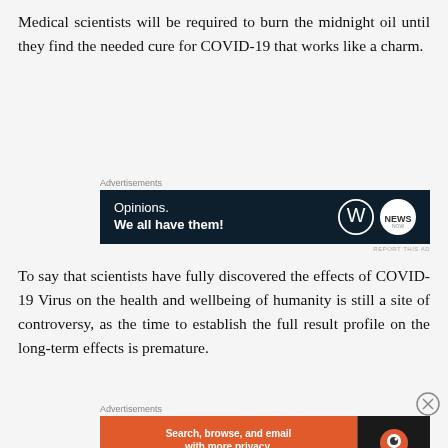Medical scientists will be required to burn the midnight oil until they find the needed cure for COVID-19 that works like a charm.
[Figure (other): Advertisement banner: 'Opinions. We all have them!' on dark navy background with WordPress and news logos]
To say that scientists have fully discovered the effects of COVID-19 Virus on the health and wellbeing of humanity is still a site of controversy, as the time to establish the full result profile on the long-term effects is premature.
[Figure (other): Advertisement banner for DuckDuckGo: 'Search, browse, and email with more privacy. All in One Free App' on orange and dark background]